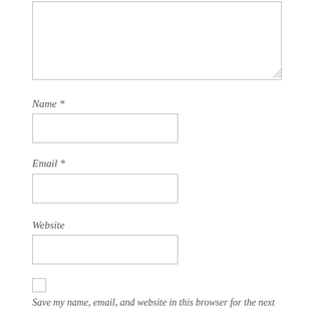[Figure (screenshot): A textarea input box with resize handle at bottom-right corner]
Name *
[Figure (screenshot): A text input field for Name]
Email *
[Figure (screenshot): A text input field for Email]
Website
[Figure (screenshot): A text input field for Website]
[Figure (screenshot): A checkbox (unchecked)]
Save my name, email, and website in this browser for the next